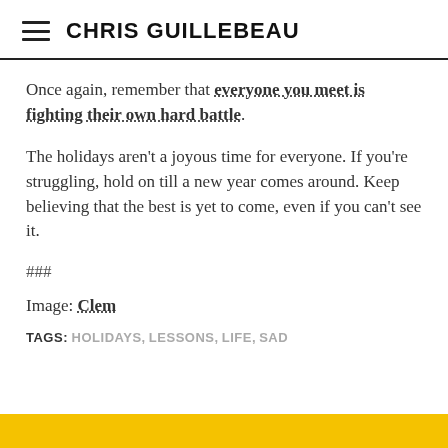CHRIS GUILLEBEAU
Once again, remember that everyone you meet is fighting their own hard battle.
The holidays aren't a joyous time for everyone. If you're struggling, hold on till a new year comes around. Keep believing that the best is yet to come, even if you can't see it.
###
Image: Clem
TAGS: HOLIDAYS, LESSONS, LIFE, SAD